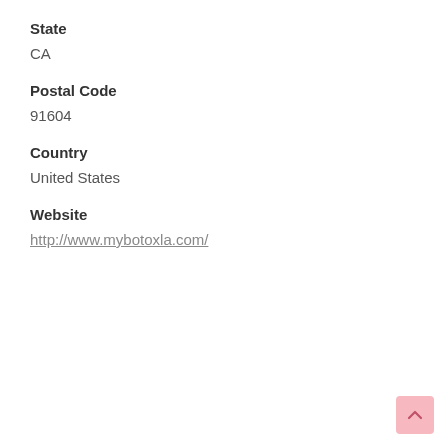State
CA
Postal Code
91604
Country
United States
Website
http://www.mybotoxla.com/